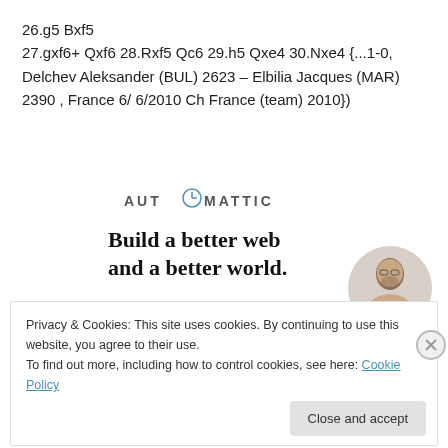26.g5 Bxf5
27.gxf6+ Qxf6 28.Rxf5 Qc6 29.h5 Qxe4 30.Nxe4 {...1-0, Delchev Aleksander (BUL) 2623 – Elbilia Jacques (MAR) 2390 , France 6/ 6/2010 Ch France (team) 2010})
[Figure (logo): AUTOMATTIC logo with a compass/clock icon replacing the O]
Build a better web and a better world.
[Figure (photo): Photo of a man in a circular crop on the right side of the advertisement]
Apply
Privacy & Cookies: This site uses cookies. By continuing to use this website, you agree to their use.
To find out more, including how to control cookies, see here: Cookie Policy
Close and accept